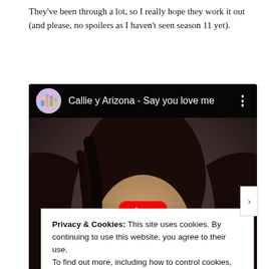They've been through a lot, so I really hope they work it out (and please, no spoilers as I haven't seen season 11 yet).
[Figure (screenshot): Embedded YouTube video player showing 'Callie y Arizona - Say you love me' with a woman's face visible as the thumbnail. A red play button is centered on the video. The video player has a dark top bar with a colorful avatar icon, the video title, and a three-dot menu.]
Privacy & Cookies: This site uses cookies. By continuing to use this website, you agree to their use.
To find out more, including how to control cookies, see here: Cookie Policy
Close and accept